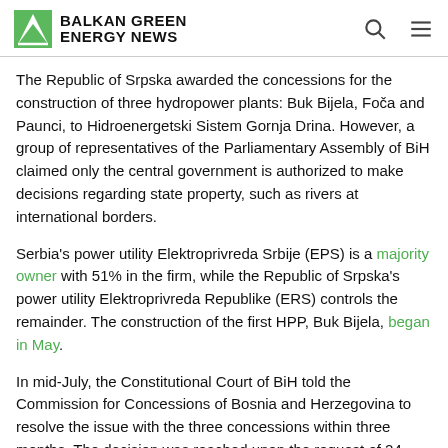BALKAN GREEN ENERGY NEWS
The Republic of Srpska awarded the concessions for the construction of three hydropower plants: Buk Bijela, Foča and Paunci, to Hidroenergetski Sistem Gornja Drina. However, a group of representatives of the Parliamentary Assembly of BiH claimed only the central government is authorized to make decisions regarding state property, such as rivers at international borders.
Serbia's power utility Elektroprivreda Srbije (EPS) is a majority owner with 51% in the firm, while the Republic of Srpska's power utility Elektroprivreda Republike (ERS) controls the remainder. The construction of the first HPP, Buk Bijela, began in May.
In mid-July, the Constitutional Court of BiH told the Commission for Concessions of Bosnia and Herzegovina to resolve the issue with the three concessions within three months. The decision was reached upon the request of 24 members of the House of Representatives